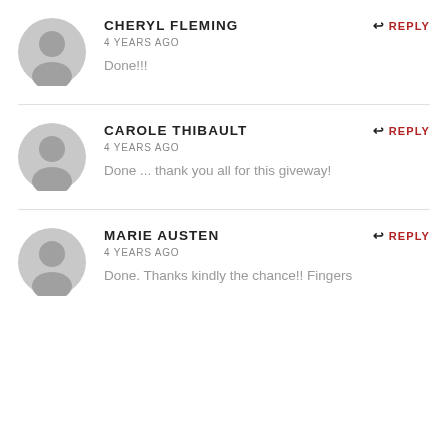CHERYL FLEMING
4 YEARS AGO
Done!!!
CAROLE THIBAULT
4 YEARS AGO
Done ... thank you all for this giveway!
MARIE AUSTEN
4 YEARS AGO
Done. Thanks kindly the chance!! Fingers